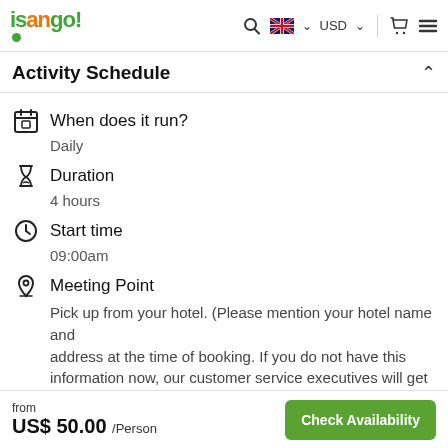isango! [nav: search, GB flag, USD, cart, menu]
Activity Schedule
When does it run?
Daily
Duration
4 hours
Start time
09:00am
Meeting Point
Pick up from your hotel. (Please mention your hotel name and address at the time of booking. If you do not have this information now, our customer service executives will get in
from US$ 50.00 /Person   Check Availability